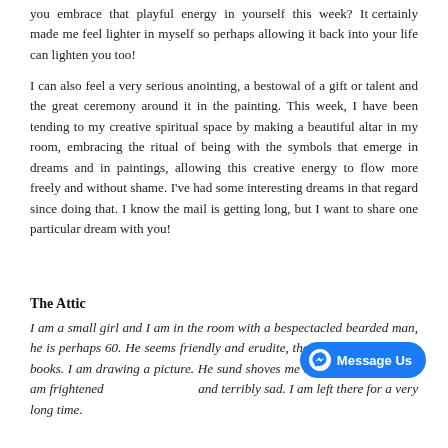you embrace that playful energy in yourself this week? It certainly made me feel lighter in myself so perhaps allowing it back into your life can lighten you too!
I can also feel a very serious anointing, a bestowal of a gift or talent and the great ceremony around it in the painting. This week, I have been tending to my creative spiritual space by making a beautiful altar in my room, embracing the ritual of being with the symbols that emerge in dreams and in paintings, allowing this creative energy to flow more freely and without shame. I've had some interesting dreams in that regard since doing that. I know the mail is getting long, but I want to share one particular dream with you!
The Attic
I am a small girl and I am in the room with a bespectacled bearded man, he is perhaps 60. He seems friendly and erudite, the walls are lined with books. I am drawing a picture. He su... nd shoves me up into a dark attic. I am frightened and terribly sad. I am left there for a very long time.